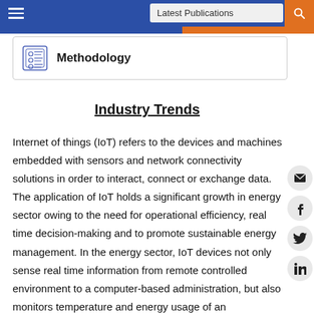Latest Publications
Methodology
Industry Trends
Internet of things (IoT) refers to the devices and machines embedded with sensors and network connectivity solutions in order to interact, connect or exchange data. The application of IoT holds a significant growth in energy sector owing to the need for operational efficiency, real time decision-making and to promote sustainable energy management. In the energy sector, IoT devices not only sense real time information from remote controlled environment to a computer-based administration, but also monitors temperature and energy usage of an establishment. As per a study conducted by Energy Efficiency & Renewable Energy, an administrative